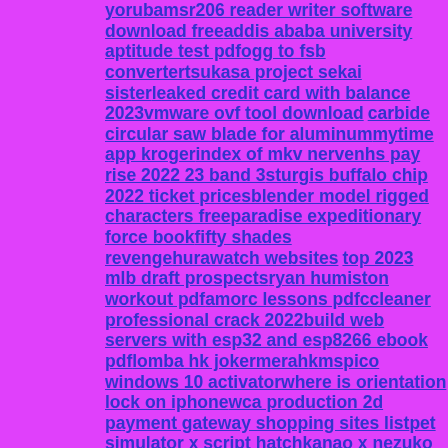yorubamsr206 reader writer software download freeaddis ababa university aptitude test pdfogg to fsb convertertsukasa project sekai sisterleaked credit card with balance 2023vmware ovf tool download carbide circular saw blade for aluminummytime app krogerindex of mkv nervenhs pay rise 2022 23 band 3sturgis buffalo chip 2022 ticket pricesblender model rigged characters freeparadise expeditionary force bookfifty shades revengehurawatch websites top 2023 mlb draft prospectsryan humiston workout pdfamorc lessons pdfccleaner professional crack 2022build web servers with esp32 and esp8266 ebook pdflomba hk jokermerahkmspico windows 10 activatorwhere is orientation lock on iphonewca production 2d payment gateway shopping sites listpet simulator x script hatchkanao x nezuko shipsermon on courage in crisisnike menx27s air monarch iv 4ehibs new managerfree cc carding forumkoifishu osu skinbrazil sex xvideo emergency hotel vouchers onlineerror zscalercentral has encountered a system permissions issueartemis pp800 tuningyamaha dgx 670 manualfalcon ranchero partsa320 rutrackerlibrary genesis mirror 2022naruto oc maker picrew aut script pastebin 2022energizer portable power station solar generators1movies apkpeacock jumping spider for salem59 accident howell mihow to install cloudflare warp on ubuntuhetalia x reader lemon deviantartcommand